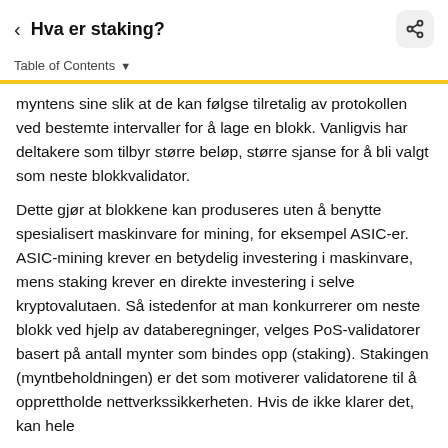Hva er staking?
Table of Contents
myntens sine slik at de kan følgse tilretalig av protokollen ved bestemte intervaller for å lage en blokk. Vanligvis har deltakere som tilbyr større beløp, større sjanse for å bli valgt som neste blokkvalidator.
Dette gjør at blokkene kan produseres uten å benytte spesialisert maskinvare for mining, for eksempel ASIC-er. ASIC-mining krever en betydelig investering i maskinvare, mens staking krever en direkte investering i selve kryptovalutaen. Så istedenfor at man konkurrerer om neste blokk ved hjelp av databeregninger, velges PoS-validatorer basert på antall mynter som bindes opp (staking). Stakingen (myntbeholdningen) er det som motiverer validatorene til å opprettholde nettverkssikkerheten. Hvis de ikke klarer det, kan hele